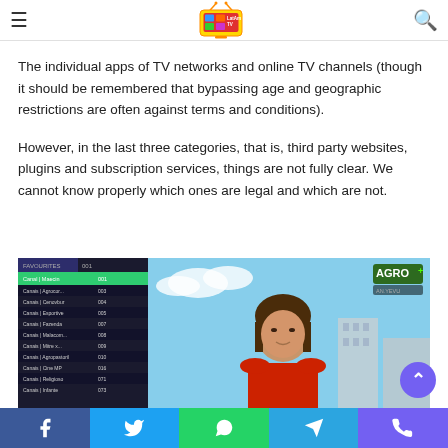LatamTV header with hamburger menu, logo, and search icon
The individual apps of TV networks and online TV channels (though it should be remembered that bypassing age and geographic restrictions are often against terms and conditions).
However, in the last three categories, that is, third party websites, plugins and subscription services, things are not fully clear. We cannot know properly which ones are legal and which are not.
[Figure (screenshot): Screenshot of a TV streaming app showing a channel list on the left with favorites and channel numbers, and a news broadcast on the right featuring a female anchor in a red jacket with an AGRO+ channel logo visible in the top right corner.]
Social share buttons: Facebook, Twitter, WhatsApp, Telegram, Viber